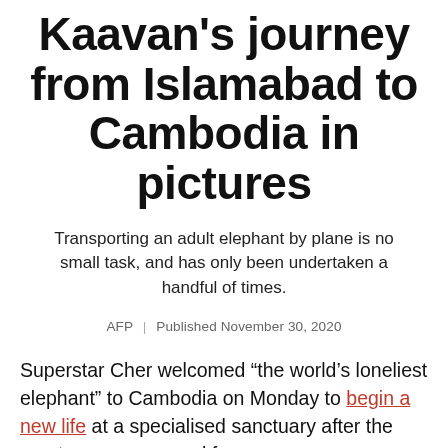Kaavan's journey from Islamabad to Cambodia in pictures
Transporting an adult elephant by plane is no small task, and has only been undertaken a handful of times.
AFP | Published November 30, 2020
Superstar Cher welcomed “the world’s loneliest elephant” to Cambodia on Monday to begin a new life at a specialised sanctuary after the creature was rescued from